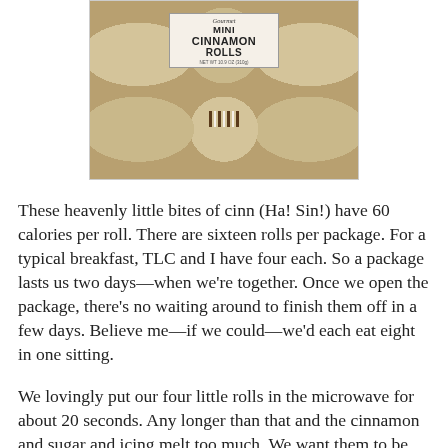[Figure (photo): Package of Gourmet Mini Cinnamon Rolls, showing multiple cinnamon rolls with icing visible through clear packaging, with a product label in the center.]
These heavenly little bites of cinn (Ha! Sin!) have 60 calories per roll. There are sixteen rolls per package. For a typical breakfast, TLC and I have four each. So a package lasts us two days—when we're together. Once we open the package, there's no waiting around to finish them off in a few days. Believe me—if we could—we'd each eat eight in one sitting.
We lovingly put our four little rolls in the microwave for about 20 seconds. Any longer than that and the cinnamon and sugar and icing melt too much. We want them to be warm and gooey. This amount of time seems to be perfect for that goal.
Yesterday afternoon, while at TLC's casa, I picked up two packages. One for her. One for me, to bring home. Well, not